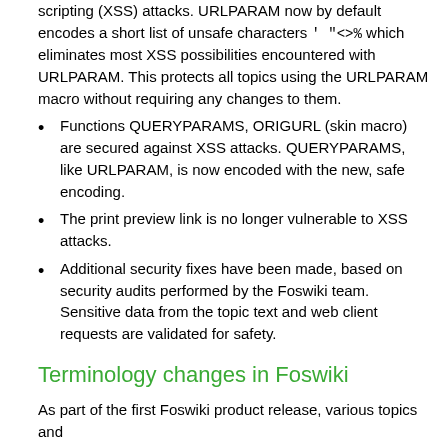scripting (XSS) attacks. URLPARAM now by default encodes a short list of unsafe characters ' "<>% which eliminates most XSS possibilities encountered with URLPARAM. This protects all topics using the URLPARAM macro without requiring any changes to them.
Functions QUERYPARAMS, ORIGURL (skin macro) are secured against XSS attacks. QUERYPARAMS, like URLPARAM, is now encoded with the new, safe encoding.
The print preview link is no longer vulnerable to XSS attacks.
Additional security fixes have been made, based on security audits performed by the Foswiki team. Sensitive data from the topic text and web client requests are validated for safety.
Terminology changes in Foswiki
As part of the first Foswiki product release, various topics and